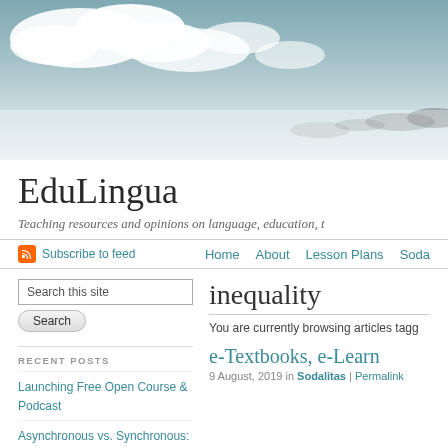[Figure (photo): Header banner image showing sky with white clouds over a misty landscape, teal-gray tones]
EduLingua
Teaching resources and opinions on language, education, t
Subscribe to feed  Home  About  Lesson Plans  Soda
Search this site
RECENT POSTS
Launching Free Open Course & Podcast
Asynchronous vs. Synchronous:
inequality
You are currently browsing articles tagg
e-Textbooks, e-Learn
9 August, 2019 in Sodalitas | Permalink